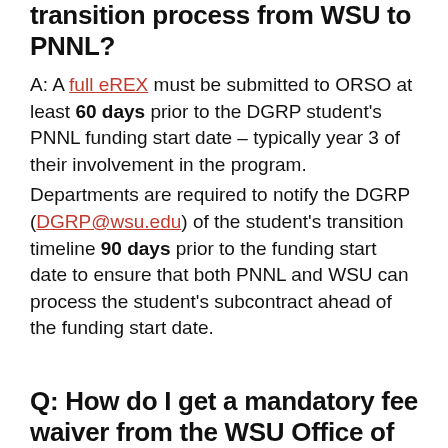transition process from WSU to PNNL?
A: A full eREX must be submitted to ORSO at least 60 days prior to the DGRP student's PNNL funding start date – typically year 3 of their involvement in the program. Departments are required to notify the DGRP (DGRP@wsu.edu) of the student's transition timeline 90 days prior to the funding start date to ensure that both PNNL and WSU can process the student's subcontract ahead of the funding start date.
Q: How do I get a mandatory fee waiver from the WSU Office of